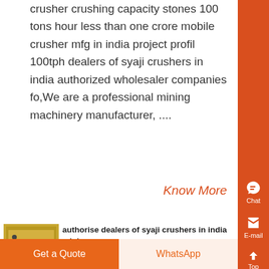crusher crushing capacity stones 100 tons hour less than one crore mobile crusher mfg in india project profil 100tph dealers of syaji crushers in india authorized wholesaler companies fo,We are a professional mining machinery manufacturer, ....
Know More
authorise dealers of syaji crushers in india mining
24-09-2020 0183 32 Authorise dealers of syaji crushers in india mining second
Get a Quote
WhatsApp